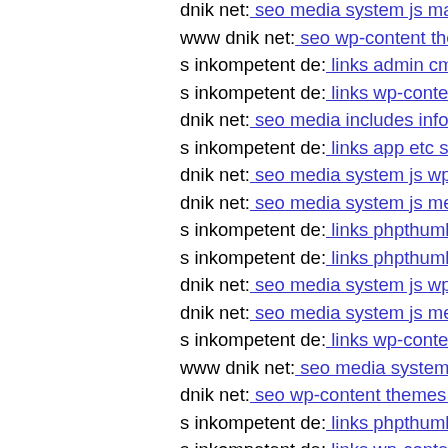dnik net: seo media system js magmi web style gif
www dnik net: seo wp-content themes twentyeleven frame
s inkompetent de: links admin cms wysiwyg directive skin
s inkompetent de: links wp-content api downloader compo
dnik net: seo media includes info php
s inkompetent de: links app etc skin administrator wp-cont
dnik net: seo media system js wp-admin includes plugins c
dnik net: seo media system js media skin wp-content them
s inkompetent de: links phpthumb phpthumb libs links app
s inkompetent de: links phpthumb thumb app etc links wp-
dnik net: seo media system js wp-admin'
dnik net: seo media system js media administrator compon
s inkompetent de: links wp-content plugins wp-mobile-det
www dnik net: seo media system js wp-admin includes co
dnik net: seo wp-content themes twentyfourteen componen
s inkompetent de: links phpthumb phpthumb plog-includes
s inkompetent de: links wp-content themes coffeebreak fu
www dnik net: seo media components com mailto views i
dnik net: seo media system js includes lib pkp lib
dnik net: seo media system js magmi web skin components